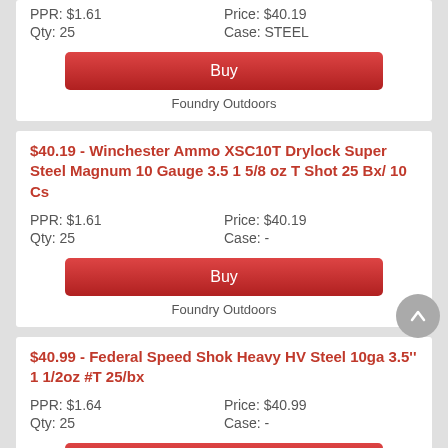PPR: $1.61    Price: $40.19
Qty: 25       Case: STEEL
Buy
Foundry Outdoors
$40.19 - Winchester Ammo XSC10T Drylock Super Steel Magnum 10 Gauge 3.5 1 5/8 oz T Shot 25 Bx/ 10 Cs
PPR: $1.61    Price: $40.19
Qty: 25       Case: -
Buy
Foundry Outdoors
$40.99 - Federal Speed Shok Heavy HV Steel 10ga 3.5'' 1 1/2oz #T 25/bx
PPR: $1.64    Price: $40.99
Qty: 25       Case: -
Buy